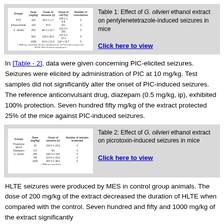[Figure (table-as-image): Small thumbnail of Table 1 showing PTZ seizure data]
Table 1: Effect of G. olivieri ethanol extract on pentylenetetrazole-induced seizures in mice
Click here to view
In [Table - 2], data were given concerning PIC-elicited seizures. Seizures were elicited by administration of PIC at 10 mg/kg. Test samples did not significantly alter the onset of PIC-induced seizures. The reference anticonvulsant drug, diazepam (0.5 mg/kg, ip), exhibited 100% protection. Seven hundred fifty mg/kg of the extract protected 25% of the mice against PIC-induced seizures.
[Figure (table-as-image): Small thumbnail of Table 2 showing picrotoxin seizure data]
Table 2: Effect of G. olivieri ethanol extract on picrotoxin-induced seizures in mice
Click here to view
HLTE seizures were produced by MES in control group animals. The dose of 200 mg/kg of the extract decreased the duration of HLTE when compared with the control. Seven hundred and fifty and 1000 mg/kg of the extract significantly